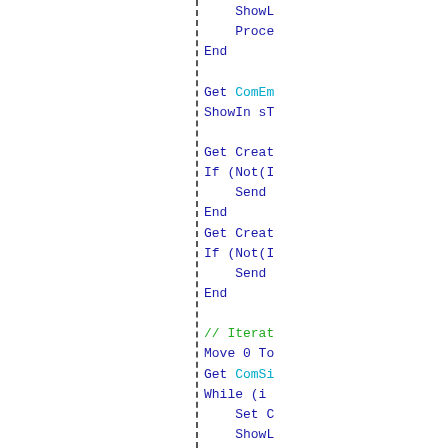[Figure (screenshot): Source code snippet showing pseudocode/4GL with blue keywords (ShowIn, Proce, End, Get, Move, While, Set, ShowIn) and green identifiers (ComEm, ComSi) and green comments (// Iterat, // Ge), partially clipped on the right side. A vertical dashed divider splits the page with a blank left panel and the code on the right.]